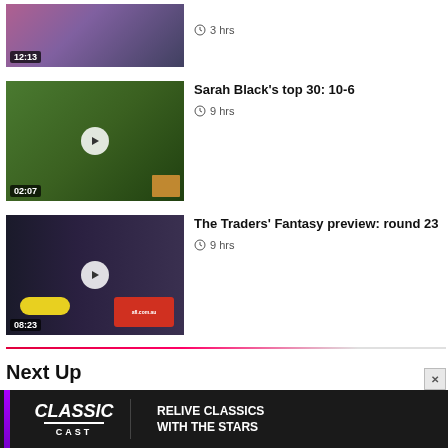[Figure (screenshot): Video thumbnail showing TV presenters, duration 12:13]
3 hrs
[Figure (screenshot): Video thumbnail of AFLW player celebrating, duration 02:07]
Sarah Black's top 30: 10-6
9 hrs
[Figure (screenshot): Video thumbnail of The Traders podcast team, duration 08:23]
The Traders' Fantasy preview: round 23
9 hrs
Next Up
[Figure (screenshot): ClassicCast advertisement banner: RELIVE CLASSICS WITH THE STARS]